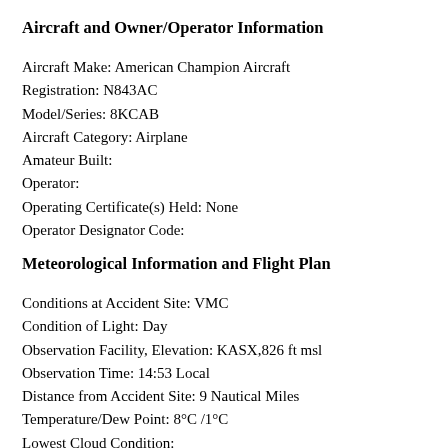Aircraft and Owner/Operator Information
Aircraft Make: American Champion Aircraft
Registration: N843AC
Model/Series: 8KCAB
Aircraft Category: Airplane
Amateur Built:
Operator:
Operating Certificate(s) Held: None
Operator Designator Code:
Meteorological Information and Flight Plan
Conditions at Accident Site: VMC
Condition of Light: Day
Observation Facility, Elevation: KASX,826 ft msl
Observation Time: 14:53 Local
Distance from Accident Site: 9 Nautical Miles
Temperature/Dew Point: 8°C /1°C
Lowest Cloud Condition:
Wind Speed/Gusts, Direction: 3 knots / , 50°